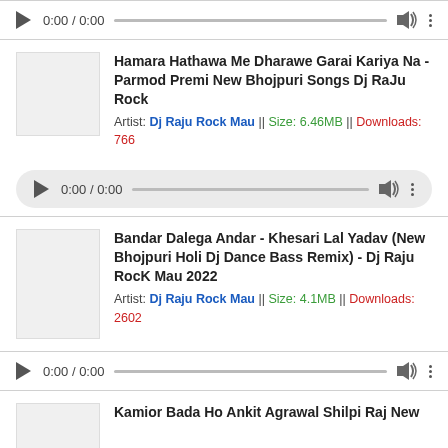[Figure (other): Audio player control bar with play button, time 0:00/0:00, progress bar, volume icon, more options icon]
Hamara Hathawa Me Dharawe Garai Kariya Na - Parmod Premi New Bhojpuri Songs Dj RaJu Rock
Artist: Dj Raju Rock Mau || Size: 6.46MB || Downloads: 766
[Figure (other): Rounded audio player control bar with play button, time 0:00/0:00, progress bar, volume icon, more options icon]
Bandar Dalega Andar - Khesari Lal Yadav (New Bhojpuri Holi Dj Dance Bass Remix) - Dj Raju RocK Mau 2022
Artist: Dj Raju Rock Mau || Size: 4.1MB || Downloads: 2602
[Figure (other): Audio player control bar with play button, time 0:00/0:00, progress bar, volume icon, more options icon]
Kamior Bada Ho Ankit Agrawal Shilpi Raj New